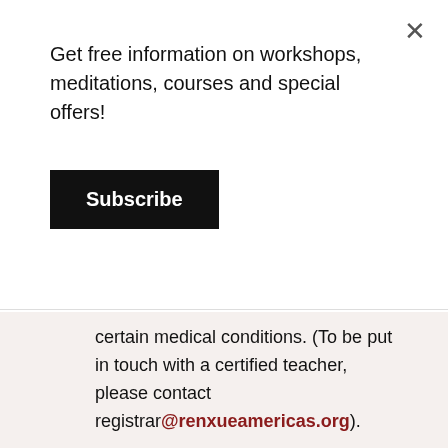Get free information on workshops, meditations, courses and special offers!
Subscribe
certain medical conditions. (To be put in touch with a certified teacher, please contact registrar@renxueamericas.org).
Safety Considerations for Circulating Qi and Opening the Central Channel
It is possible that past, current or potential mental or neurological conditions can be triggered during the practices. Ren Xue considers safety to be of utmost importance and consequently, does not recommend these methods for anyone who has been diagnosed with schizophrenia, bi-polar disorder, paranoia, or epilepsy; has suffered from